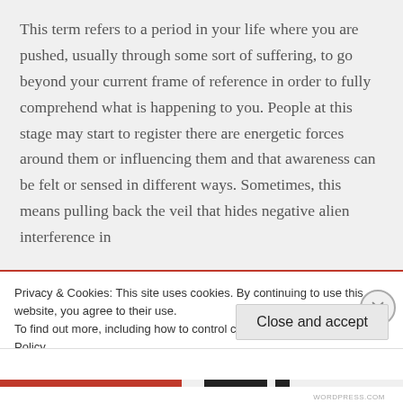This term refers to a period in your life where you are pushed, usually through some sort of suffering, to go beyond your current frame of reference in order to fully comprehend what is happening to you. People at this stage may start to register there are energetic forces around them or influencing them and that awareness can be felt or sensed in different ways. Sometimes, this means pulling back the veil that hides negative alien interference in
Privacy & Cookies: This site uses cookies. By continuing to use this website, you agree to their use.
To find out more, including how to control cookies, see here: Cookie Policy
Close and accept